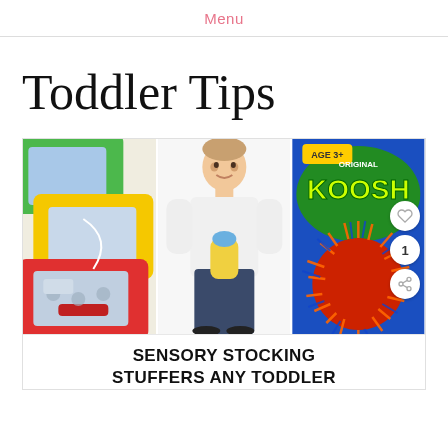Menu
Toddler Tips
[Figure (photo): Three-panel image: left panel shows colorful magnetic drawing boards (green, yellow, red), center panel shows a toddler boy in white shirt holding a small toy, right panel shows a Koosh ball in packaging with 'Age 3+ Original Koosh' branding. Social action buttons (heart, count '1', share) overlay the right side.]
SENSORY STOCKING STUFFERS ANY TODDLER